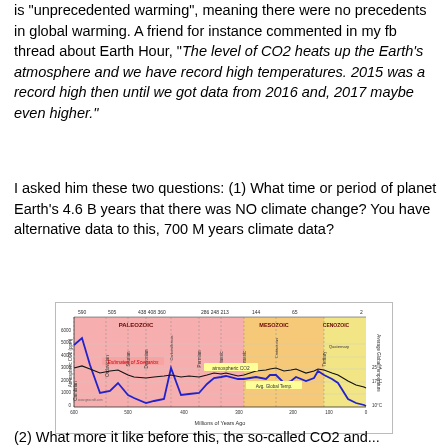is "unprecedented warming", meaning there were no precedents in global warming. A friend for instance commented in my fb thread about Earth Hour, "The level of CO2 heats up the Earth's atmosphere and we have record high temperatures. 2015 was a record high then until we got data from 2016 and, 2017 maybe even higher."
I asked him these two questions: (1) What time or period of planet Earth's 4.6 B years that there was NO climate change? You have alternative data to this, 700 M years climate data?
[Figure (continuous-plot): Chart showing atmospheric CO2 (ppm) and Average Global Temperature over 600 million years ago to present. The x-axis is 'Millions of Years Ago', y-axis left is 'Atmospheric CO2 (ppm)', y-axis right is 'Average Global Temperature'. Geological eras shown: Paleozoic (pink/red background) and Mesozoic/Cenozoic (orange/yellow). Periods labeled: Cambrian, Ordovician, Silurian, Devonian, Carboniferous, Permian, Triassic, Jurassic, Cretaceous, Tertiary, Quaternary. Blue line shows CO2 levels historically high then declining. Black line shows temperature. Labels on chart: 'Estimates of Scenarios', 'atmospheric CO2', 'Avg. Global Temp'. Top axis shows values: 590, 505, 438 408 360, 286 248 213, 144, 65, 2.]
(2) What more it like before this, the so-called CO2 and...